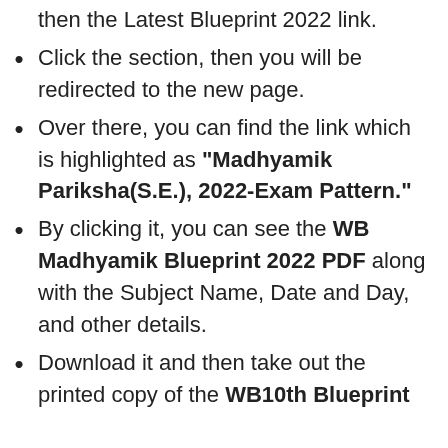then the Latest Blueprint 2022 link.
Click the section, then you will be redirected to the new page.
Over there, you can find the link which is highlighted as “Madhyamik Pariksha(S.E.), 2022-Exam Pattern.”
By clicking it, you can see the WB Madhyamik Blueprint 2022 PDF along with the Subject Name, Date and Day, and other details.
Download it and then take out the printed copy of the WB10th Blueprint